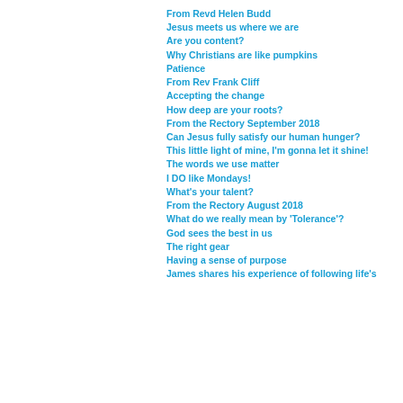From Revd Helen Budd
Jesus meets us where we are
Are you content?
Why Christians are like pumpkins
Patience
From Rev Frank Cliff
Accepting the change
How deep are your roots?
From the Rectory September 2018
Can Jesus fully satisfy our human hunger?
This little light of mine, I'm gonna let it shine!
The words we use matter
I DO like Mondays!
What's your talent?
From the Rectory August 2018
What do we really mean by 'Tolerance'?
God sees the best in us
The right gear
Having a sense of purpose
James shares his experience of following life's